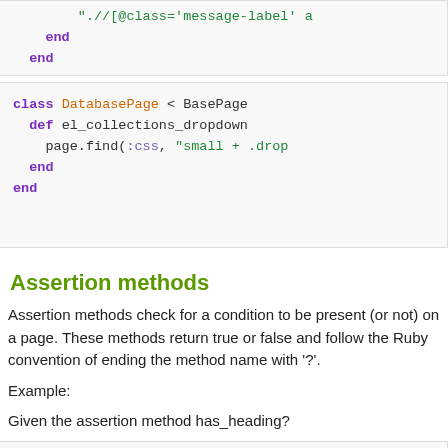[Figure (screenshot): Code block showing end and end keywords in Ruby, continuation from previous page]
[Figure (screenshot): Ruby code block defining class DatabasePage < BasePage with def el_collections_dropdown and page.find(:css, 'small + .drop...')]
Assertion methods
Assertion methods check for a condition to be present (or not) on a page. These methods return true or false and follow the Ruby convention of ending the method name with '?'.
Example:
Given the assertion method has_heading?
[Figure (screenshot): Ruby code block beginning: class BasePage]